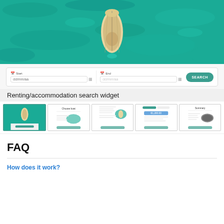[Figure (photo): Aerial view of a sailboat on turquoise/teal water, viewed from above]
[Figure (screenshot): Renting/accommodation search widget with Start and End date fields and a SEARCH button]
Renting/accommodation search widget
[Figure (screenshot): Row of five thumbnail screenshots showing different steps of a booking/search flow]
FAQ
How does it work?